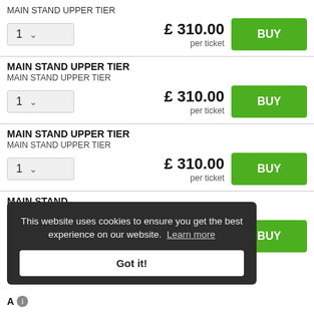MAIN STAND UPPER TIER
£ 310.00 per ticket
MAIN STAND UPPER TIER
MAIN STAND UPPER TIER
£ 310.00 per ticket
MAIN STAND UPPER TIER
MAIN STAND UPPER TIER
£ 310.00 per ticket
MAIN STAND
Up to 4 seats together - No agency bookings
330.00 per ticket
This website uses cookies to ensure you get the best experience on our website. Learn more
Got it!